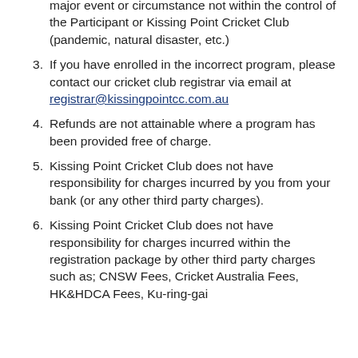major event or circumstance not within the control of the Participant or Kissing Point Cricket Club (pandemic, natural disaster, etc.)
3. If you have enrolled in the incorrect program, please contact our cricket club registrar via email at registrar@kissingpointcc.com.au
4. Refunds are not attainable where a program has been provided free of charge.
5. Kissing Point Cricket Club does not have responsibility for charges incurred by you from your bank (or any other third party charges).
6. Kissing Point Cricket Club does not have responsibility for charges incurred within the registration package by other third party charges such as; CNSW Fees, Cricket Australia Fees, HK&HDCA Fees, Ku-ring-gai